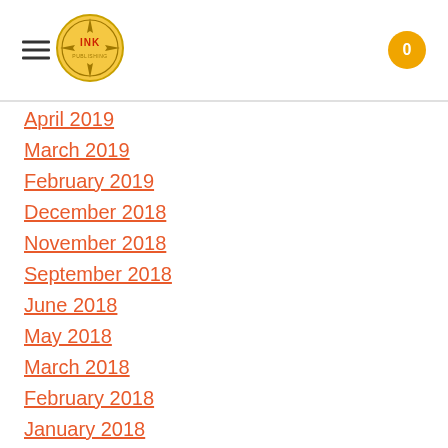INK logo, hamburger menu, cart badge 0
April 2019
March 2019
February 2019
December 2018
November 2018
September 2018
June 2018
May 2018
March 2018
February 2018
January 2018
December 2017
November 2017
October 2017